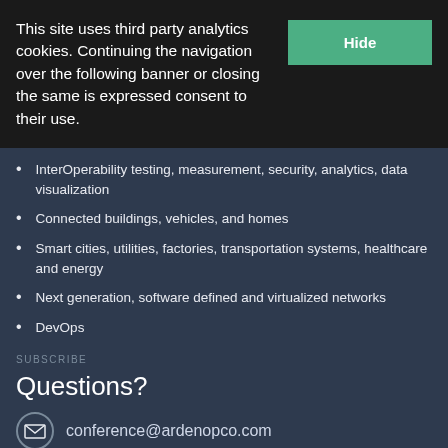This site uses third party analytics cookies. Continuing the navigation over the following banner or closing the same is expressed consent to their use.
InterOperability testing, measurement, security, analytics, data visualization
Connected buildings, vehicles, and homes
Smart cities, utilities, factories, transportation systems, healthcare and energy
Next generation, software defined and virtualized networks
DevOps
SUBSCRIBE
Questions?
conference@ardenopco.com